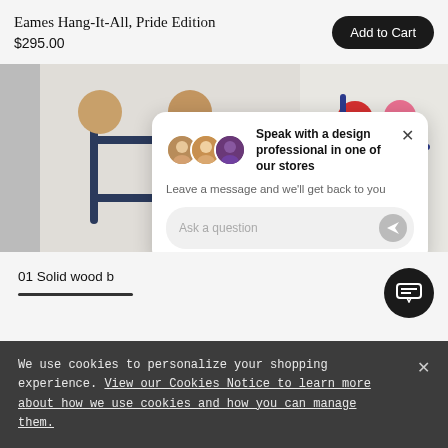Eames Hang-It-All, Pride Edition
$295.00
Add to Cart
[Figure (photo): Product photo of Eames Hang-It-All coat rack with wooden ball hooks and dark blue metal frame, shown in two views side by side]
Speak with a design professional in one of our stores
Leave a message and we'll get back to you
Ask a question
01 Solid wood b
We use cookies to personalize your shopping experience. View our Cookies Notice to learn more about how we use cookies and how you can manage them.